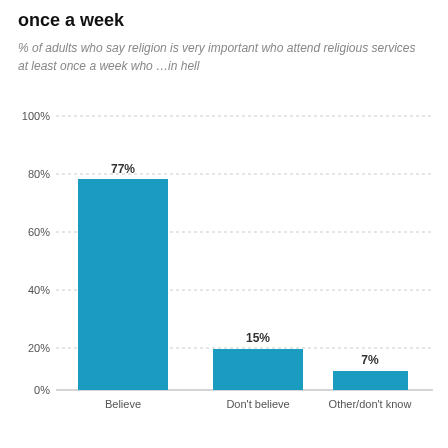once a week
% of adults who say religion is very important who attend religious services at least once a week who …in hell
[Figure (bar-chart): once a week]